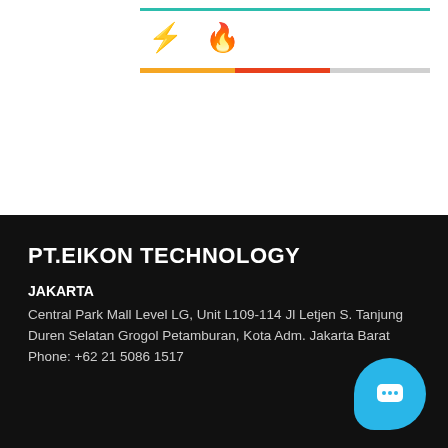[Figure (infographic): Two emoji icons (lightning bolt in yellow, flame in orange-red) with a teal horizontal line above and a two-color progress bar below (yellow-orange left half, red right half, gray remainder)]
PT.EIKON TECHNOLOGY
JAKARTA
Central Park Mall Level LG, Unit L109-114 Jl Letjen S. Tanjung Duren Selatan Grogol Petamburan, Kota Adm. Jakarta Barat
Phone: +62 21 5086 1517